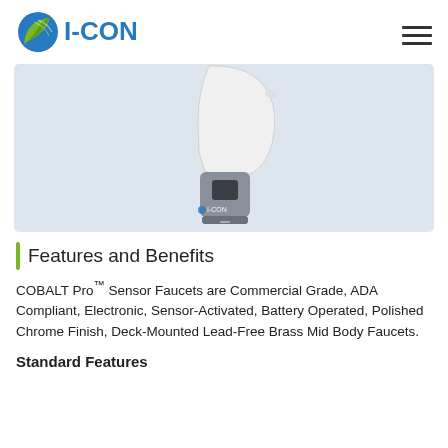[Figure (logo): I-CON logo with green leaf/wave icon and blue I-CON text]
[Figure (photo): COBALT Pro sensor faucet product photo showing a white and gray automatic sensor faucet with I-CON branding on a light blue-gray background]
Features and Benefits
COBALT Pro™ Sensor Faucets are Commercial Grade, ADA Compliant, Electronic, Sensor-Activated, Battery Operated, Polished Chrome Finish, Deck-Mounted Lead-Free Brass Mid Body Faucets.
Standard Features